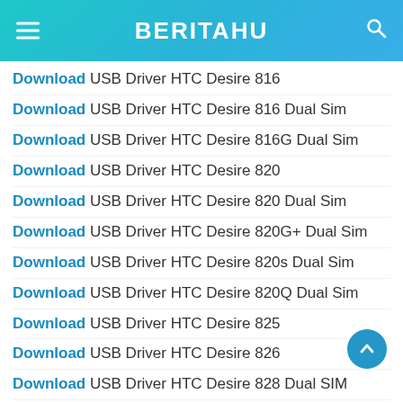BERITAHU
Download USB Driver HTC Desire 816
Download USB Driver HTC Desire 816 Dual Sim
Download USB Driver HTC Desire 816G Dual Sim
Download USB Driver HTC Desire 820
Download USB Driver HTC Desire 820 Dual Sim
Download USB Driver HTC Desire 820G+ Dual Sim
Download USB Driver HTC Desire 820s Dual Sim
Download USB Driver HTC Desire 820Q Dual Sim
Download USB Driver HTC Desire 825
Download USB Driver HTC Desire 826
Download USB Driver HTC Desire 828 Dual SIM
Download USB Driver HTC Desire 830
Download USB Driver HTC Droid DNA
Download USB Driver HTC Droid Incredible
Download USB Driver HTC Droid Incredible 2
Download USB Driver HTC Droid Incredible 4G LTE